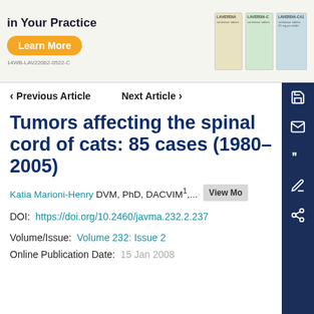[Figure (photo): Advertisement banner for LAVERDIA medication showing 'in Your Practice' text, a Learn More orange button, drug packaging images, and code 14WB-LAV22062-0522-C]
< Previous Article   Next Article >
Tumors affecting the spinal cord of cats: 85 cases (1980–2005)
Katia Marioni-Henry DVM, PhD, DACVIM1,... View Mo
DOI:  https://doi.org/10.2460/javma.232.2.237
Volume/Issue:  Volume 232: Issue 2
Online Publication Date:  15 Jan 2008